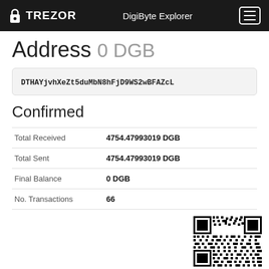TREZOR  DigiByte Explorer
Address 0 DGB
DTHAYjvhXeZt5duMbN8hFjD9WS2wBFAZcL
Confirmed
|  |  |
| --- | --- |
| Total Received | 4754.47993019 DGB |
| Total Sent | 4754.47993019 DGB |
| Final Balance | 0 DGB |
| No. Transactions | 66 |
[Figure (other): QR code for DigiByte address DTHAYjvhXeZt5duMbN8hFjD9WS2wBFAZcL]